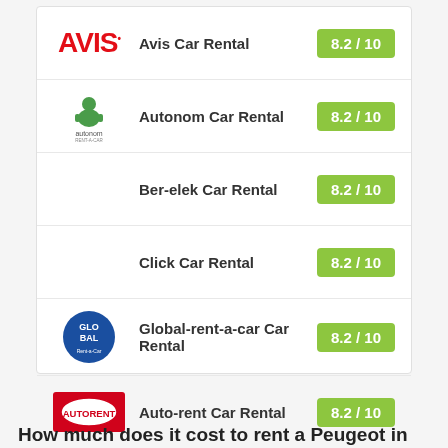Avis Car Rental – 8.2 / 10
Autonom Car Rental – 8.2 / 10
Ber-elek Car Rental – 8.2 / 10
Click Car Rental – 8.2 / 10
Global-rent-a-car Car Rental – 8.2 / 10
Auto-rent Car Rental – 8.2 / 10
How much does it cost to rent a Peugeot in